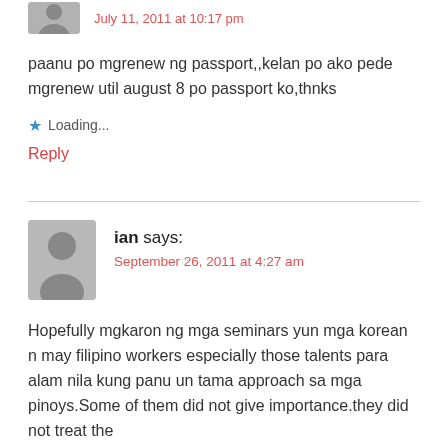July 11, 2011 at 10:17 pm
paanu po mgrenew ng passport,,kelan po ako pede mgrenew util august 8 po passport ko,thnks
Loading...
Reply
ian says:
September 26, 2011 at 4:27 am
Hopefully mgkaron ng mga seminars yun mga korean n may filipino workers especially those talents para alam nila kung panu un tama approach sa mga pinoys.Some of them did not give importance.they did not treat the